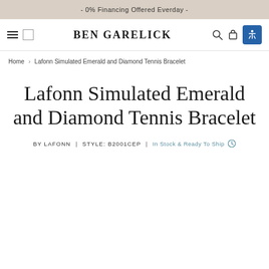- 0% Financing Offered Everday -
[Figure (logo): Ben Garelick jewelry store navigation bar with hamburger menu, square icon, Ben Garelick logo, search icon, cart icon, and accessibility button]
Home › Lafonn Simulated Emerald and Diamond Tennis Bracelet
Lafonn Simulated Emerald and Diamond Tennis Bracelet
BY LAFONN | STYLE: B2001CEP | In Stock & Ready To Ship